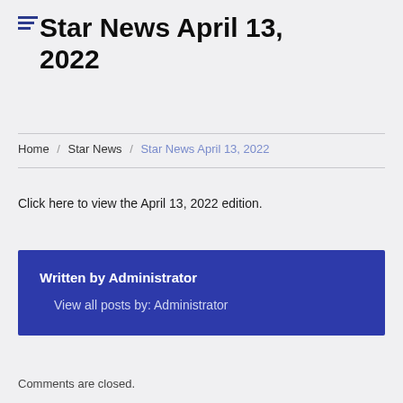Star News April 13, 2022
Home / Star News / Star News April 13, 2022
Click here to view the April 13, 2022 edition.
Written by Administrator
View all posts by: Administrator
Comments are closed.